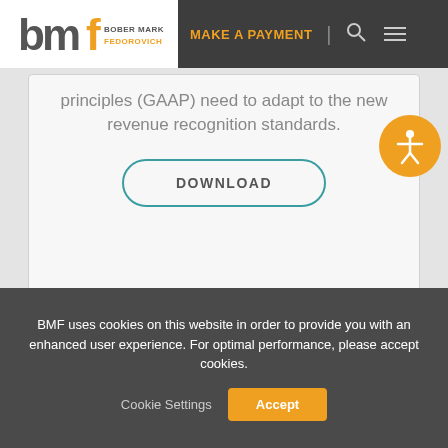[Figure (logo): BMF Bober Markey Fedorovich logo with orange and gray lettering]
MAKE A PAYMENT
principles (GAAP) need to adapt to the new revenue recognition standards.
DOWNLOAD
[Figure (illustration): Accessibility icon - person with arms outstretched in circle on orange background]
BMF uses cookies on this website in order to provide you with an enhanced user experience. For optimal performance, please accept cookies.
Cookie Settings
Accept